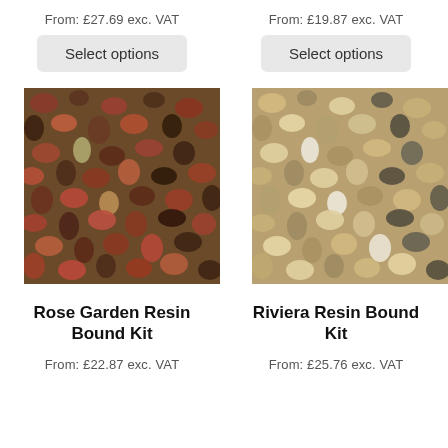From: £27.69 exc. VAT
From: £19.87 exc. VAT
Select options
Select options
[Figure (photo): Close-up photo of Rose Garden Resin Bound Kit gravel — reddish-brown and dark mixed pebbles]
[Figure (photo): Close-up photo of Riviera Resin Bound Kit gravel — light sandy/beige mixed pebbles]
Rose Garden Resin Bound Kit
Riviera Resin Bound Kit
From: £22.87 exc. VAT
From: £25.76 exc. VAT